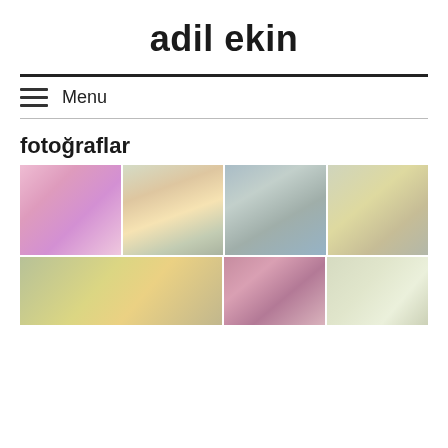adil ekin
Menu
fotoğraflar
[Figure (photo): Grid of flower and nature photographs: pink flowers, sunset trees, peacock feathers, desert plant, yellow flowers, red flowers, white flowers]